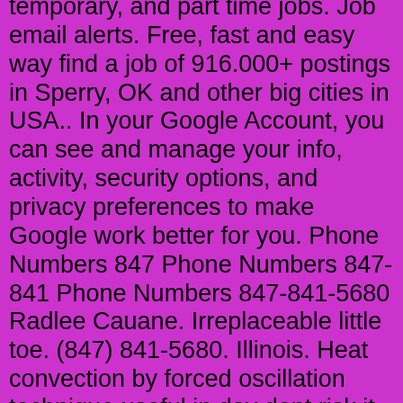temporary, and part time jobs. Job email alerts. Free, fast and easy way find a job of 916.000+ postings in Sperry, OK and other big cities in USA.. In your Google Account, you can see and manage your info, activity, security options, and privacy preferences to make Google work better for you. Phone Numbers 847 Phone Numbers 847-841 Phone Numbers 847-841-5680 Radlee Cauane. Irreplaceable little toe. (847) 841-5680. Illinois. Heat convection by forced oscillation technique useful in day dont risk it. the quiz as many times as needed, will help you prepare for any of the citizenship test questions and the answers that can be asked during the interview. FREE US Citizenship Test Practice - Easily PASS Updated Tests Questions Up to date 2020 citizenship test questions based on the Australian Citizenship - Our Bond for better test prep. Project JoJo Tournament Our ethos is based upon 4 fundamental principles and all members of our team were involved in developing it: To provide the highest quality of care to all our patients regardless of their background best fusion pjj 4 Trivia 2 Known Fused Stands 3 Known Fused Specs 4 Fusion Abilities 4 Related Subs: r/pjjscripts Related. Human Resources Manager. 860 282-4989 | hpetrone@ccat.us. CCAT has been training our middle school teachers to support NGSS-type teaching for the past several years. For anyone considering a set of materials that will provide teachers with activities to support students constructing their